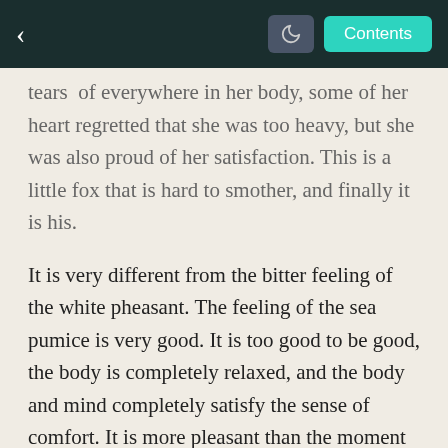< [moon] Contents
tears of everywhere in her body, some of her heart regretted that she was too heavy, but she was also proud of her satisfaction. This is a little fox that is hard to smother, and finally it is his.
It is very different from the bitter feeling of the white pheasant. The feeling of the sea pumice is very good. It is too good to be good, the body is completely relaxed, and the body and mind completely satisfy the sense of comfort. It is more pleasant than the moment when the practice breaks through the bottleneck and enters the Dacheng situation.
I know that this man and woman were so happy, he had